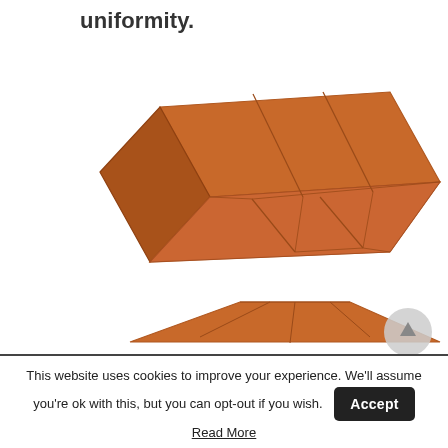uniformity.
[Figure (illustration): 3D rendering of an open rectangular box (brick-like shape) in terracotta/orange color viewed from a slight angle, showing interior divisions. Below it, a partial view of another similar 3D shape partially cut off.]
This website uses cookies to improve your experience. We'll assume you're ok with this, but you can opt-out if you wish. Accept
Read More